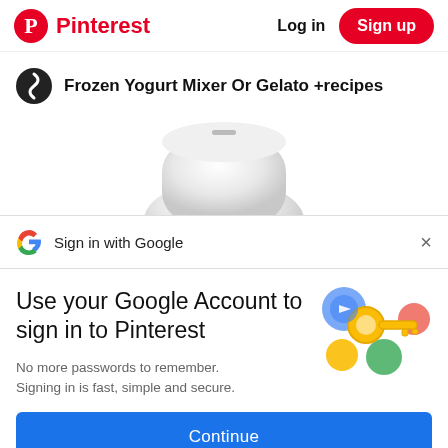Pinterest  Log in  Sign up
Frozen Yogurt Mixer Or Gelato +recipes
[Figure (screenshot): Partial product image of a white kitchen appliance (yogurt/gelato maker) visible from above]
Sign in with Google
Use your Google Account to sign in to Pinterest
No more passwords to remember. Signing in is fast, simple and secure.
[Figure (illustration): Google sign-in illustration showing a golden key with colorful circles (blue, yellow, green, red/pink)]
Continue